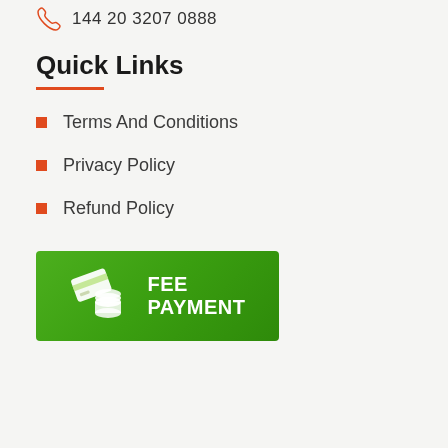144 20 3207 0888
Quick Links
Terms And Conditions
Privacy Policy
Refund Policy
[Figure (illustration): Green Fee Payment banner with card and coins icon and white bold text reading FEE PAYMENT]